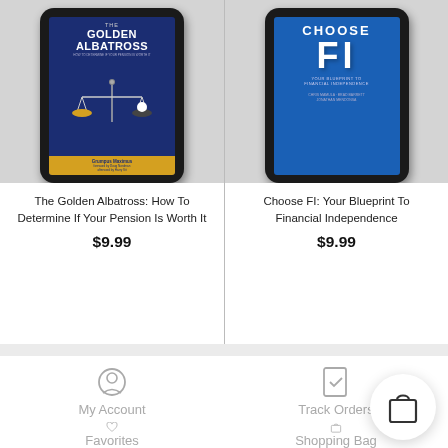[Figure (photo): Tablet displaying 'The Golden Albatross' book cover — dark blue background with a golden albatross on a balance scale, yellow arc at bottom]
The Golden Albatross: How To Determine If Your Pension Is Worth It
$9.99
[Figure (photo): Tablet displaying 'Choose FI: Your Blueprint To Financial Independence' book cover — blue background with large FI letters]
Choose FI: Your Blueprint To Financial Independence
$9.99
My Account
Track Orders
Favorites
Shopping Bag